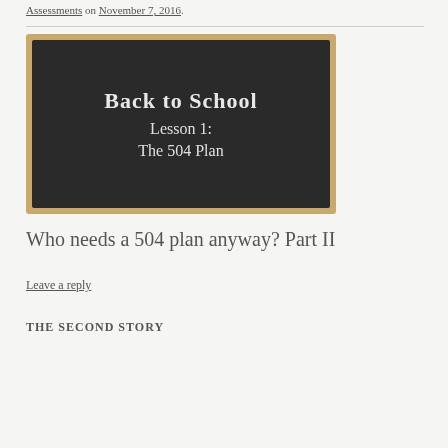Assessments on November 7, 2016.
[Figure (photo): A chalkboard image with wooden frame showing text: 'Back to School Lesson 1: The 504 Plan']
Who needs a 504 plan anyway? Part II
Leave a reply
THE SECOND STORY